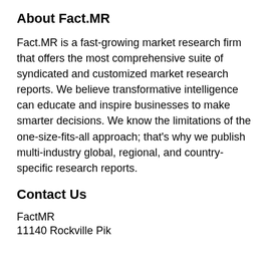About Fact.MR
Fact.MR is a fast-growing market research firm that offers the most comprehensive suite of syndicated and customized market research reports. We believe transformative intelligence can educate and inspire businesses to make smarter decisions. We know the limitations of the one-size-fits-all approach; that's why we publish multi-industry global, regional, and country-specific research reports.
Contact Us
FactMR
11140 Rockville Pik...